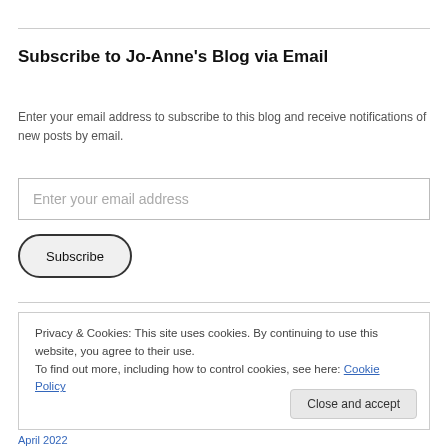Subscribe to Jo-Anne's Blog via Email
Enter your email address to subscribe to this blog and receive notifications of new posts by email.
Enter your email address
Subscribe
Privacy & Cookies: This site uses cookies. By continuing to use this website, you agree to their use.
To find out more, including how to control cookies, see here: Cookie Policy
Close and accept
April 2022